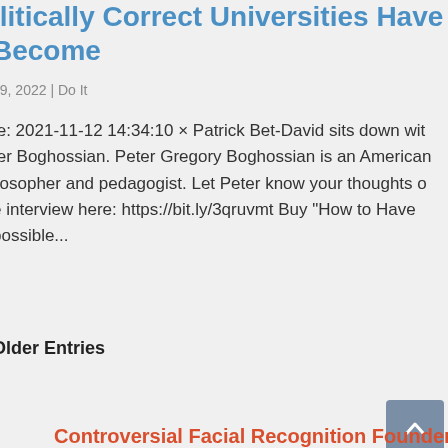ilitically Correct Universities Have Become
19, 2022 | Do It
te: 2021-11-12 14:34:10 × Patrick Bet-David sits down with Peter Boghossian. Peter Gregory Boghossian is an American philosopher and pedagogist. Let Peter know your thoughts on the interview here: https://bit.ly/3qruvmt Buy "How to Have Impossible...
Older Entries
[Figure (other): Scroll-to-top button, a blue-grey square with an upward chevron arrow icon]
Controversial Facial Recognition Founder